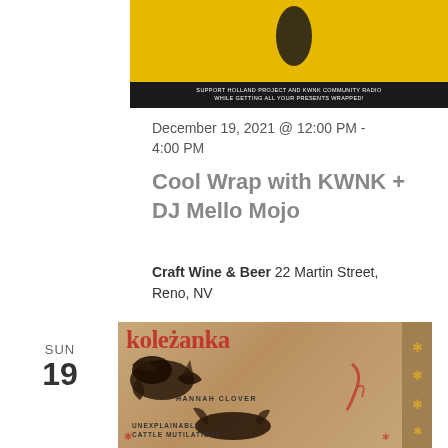[Figure (illustration): Top portion of an event flyer with yellow background, dark figures, and a black bar at the bottom with white text: 'Support Holland Project and KWNK Community Radio while getting all your presents wrapped!']
December 19, 2021 @ 12:00 PM - 4:00 PM
Cool Wrap with KWNK + DJ Mello Mojo
Craft Wine & Beer 22 Martin Street, Reno, NV
SUN 19
[Figure (illustration): Album or event artwork for 'Koleżanka' featuring dark bird/hawk illustrations on a kraft paper background with red title text 'koleżanka', text 'HANNAH CLOVER', and 'UNEXPLAINABLE CATTLE MUTILATIONS' in black. Right side has decorative asterisk border on darker strip.]